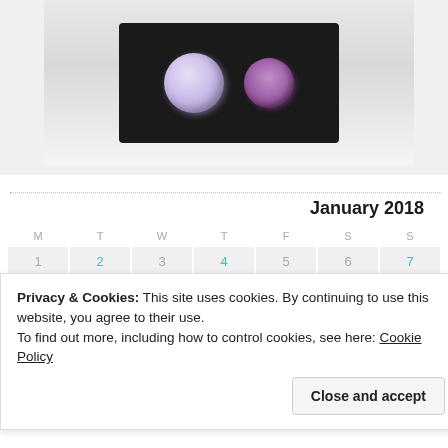[Figure (photo): Photo of purple/lavender gemstones on a black display stand, shown against a light background.]
| M | T | W | T | F | S | S |
| --- | --- | --- | --- | --- | --- | --- |
| 1 | 2 | 3 | 4 | 5 | 6 | 7 |
| 8 | 9 | 10 | 11 | 12 | 13 | 14 |
| 15 | 16 | 17 | 18 | 19 | 20 | 21 |
Privacy & Cookies: This site uses cookies. By continuing to use this website, you agree to their use.
To find out more, including how to control cookies, see here: Cookie Policy
Close and accept